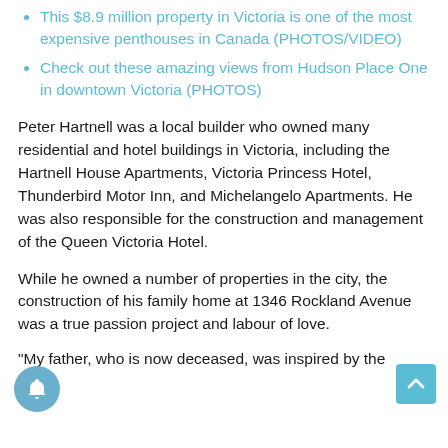This $8.9 million property in Victoria is one of the most expensive penthouses in Canada (PHOTOS/VIDEO)
Check out these amazing views from Hudson Place One in downtown Victoria (PHOTOS)
Peter Hartnell was a local builder who owned many residential and hotel buildings in Victoria, including the Hartnell House Apartments, Victoria Princess Hotel, Thunderbird Motor Inn, and Michelangelo Apartments. He was also responsible for the construction and management of the Queen Victoria Hotel.
While he owned a number of properties in the city, the construction of his family home at 1346 Rockland Avenue was a true passion project and labour of love.
“My father, who is now deceased, was inspired by the